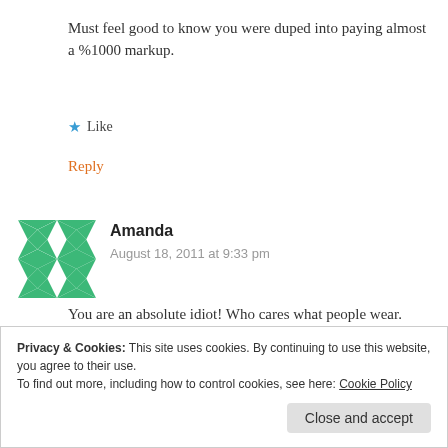Must feel good to know you were duped into paying almost a %1000 markup.
★ Like
Reply
[Figure (illustration): Green and white geometric avatar image for user Amanda]
Amanda
August 18, 2011 at 9:33 pm
You are an absolute idiot! Who cares what people wear. You're superficial & shallow. Who cares if it's real or fake or
Privacy & Cookies: This site uses cookies. By continuing to use this website, you agree to their use.
To find out more, including how to control cookies, see here: Cookie Policy
Close and accept